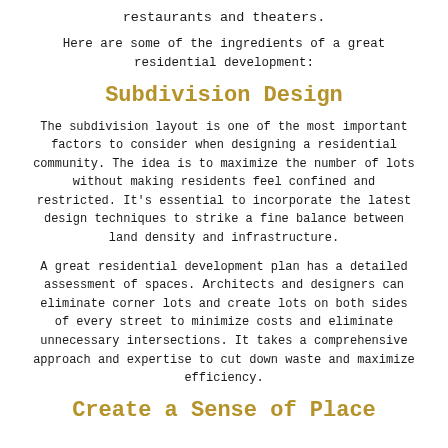restaurants and theaters.
Here are some of the ingredients of a great residential development:
Subdivision Design
The subdivision layout is one of the most important factors to consider when designing a residential community. The idea is to maximize the number of lots without making residents feel confined and restricted. It’s essential to incorporate the latest design techniques to strike a fine balance between land density and infrastructure.
A great residential development plan has a detailed assessment of spaces. Architects and designers can eliminate corner lots and create lots on both sides of every street to minimize costs and eliminate unnecessary intersections. It takes a comprehensive approach and expertise to cut down waste and maximize efficiency.
Create a Sense of Place